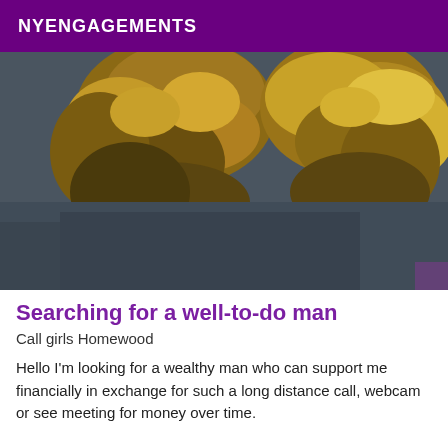NYENGAGEMENTS
[Figure (photo): Close-up photo of the backs of two people's heads with blonde/brown wavy hair, wearing dark clothing, dark grey/navy background]
Searching for a well-to-do man
Call girls Homewood
Hello I'm looking for a wealthy man who can support me financially in exchange for such a long distance call, webcam or see meeting for money over time.